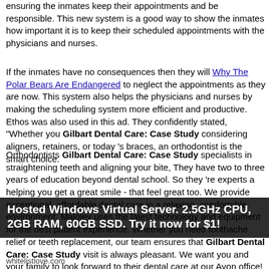ensuring the inmates keep their appointments and be responsible. This new system is a good way to show the inmates how important it is to keep their scheduled appointments with the physicians and nurses.
If the inmates have no consequences then they will Why The Polar Bears Are Endangered to neglect the appointments as they are now. This system also helps the physicians and nurses by making the scheduling system more efficient and productive. Ethos was also used in this ad. They confidently stated, "Whether you Gilbart Dental Care: Case Study considering aligners, retainers, or today 's braces, an orthodontist is the smart choice.
Orthodontists Gilbart Dental Care: Case Study specialists in straightening teeth and aligning your bite, They have two to three years of education beyond dental school. So they 're experts a helping you get a great smile - that feel great too. We provide exceptional, affordable dental care in a relaxing, comfortable environment. Maloley uses the latest technology and equipment for the best patient experience. Whether you need toothache relief or teeth replacement, our team ensures that Gilbart Dental Care: Case Study visit is always pleasant. We want you and your family to look forward to their dental care at our Avon office! If you love
Hosted Windows Virtual Server. 2.5GHz CPU, 2GB RAM, 60GB SSD. Try it now for $1!
whitelistlove.com